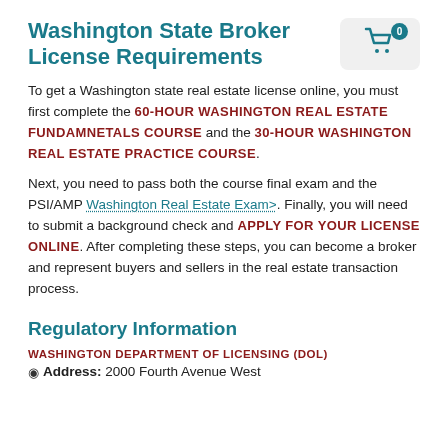Washington State Broker License Requirements
To get a Washington state real estate license online, you must first complete the 60-HOUR WASHINGTON REAL ESTATE FUNDAMNETALS COURSE and the 30-HOUR WASHINGTON REAL ESTATE PRACTICE COURSE.
Next, you need to pass both the course final exam and the PSI/AMP Washington Real Estate Exam>. Finally, you will need to submit a background check and APPLY FOR YOUR LICENSE ONLINE. After completing these steps, you can become a broker and represent buyers and sellers in the real estate transaction process.
Regulatory Information
WASHINGTON DEPARTMENT OF LICENSING (DOL)
Address: 2000 Fourth Avenue West